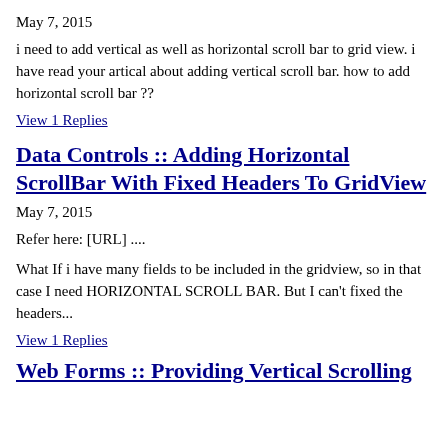May 7, 2015
i need to add vertical as well as horizontal scroll bar to grid view. i have read your artical about adding vertical scroll bar. how to add horizontal scroll bar ??
View 1 Replies
Data Controls :: Adding Horizontal ScrollBar With Fixed Headers To GridView
May 7, 2015
Refer here: [URL] ....
What If i have many fields to be included in the gridview, so in that case I need HORIZONTAL SCROLL BAR. But I can't fixed the headers...
View 1 Replies
Web Forms :: Providing Vertical Scrolling